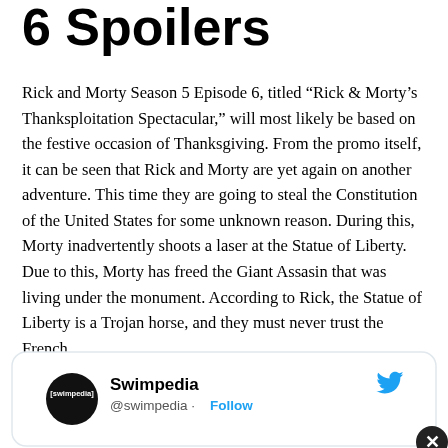6 Spoilers
Rick and Morty Season 5 Episode 6, titled “Rick & Morty’s Thanksploitation Spectacular,” will most likely be based on the festive occasion of Thanksgiving. From the promo itself, it can be seen that Rick and Morty are yet again on another adventure. This time they are going to steal the Constitution of the United States for some unknown reason. During this, Morty inadvertently shoots a laser at the Statue of Liberty. Due to this, Morty has freed the Giant Assasin that was living under the monument. According to Rick, the Statue of Liberty is a Trojan horse, and they must never trust the French.
[Figure (screenshot): Twitter/X tweet card showing Swimpedia account (@swimpedia) with Follow button and Twitter bird logo icon, with a close button (X) in the bottom right corner.]